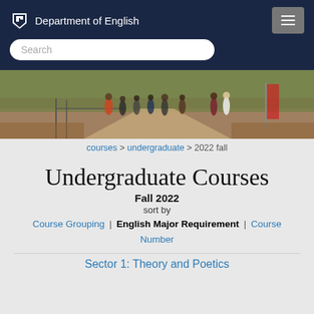Department of English
[Figure (photo): Students walking on a campus pathway outdoors, with trees and a banner visible]
courses > undergraduate > 2022 fall
Undergraduate Courses
Fall 2022
sort by
Course Grouping | English Major Requirement | Course Number
Sector 1: Theory and Poetics